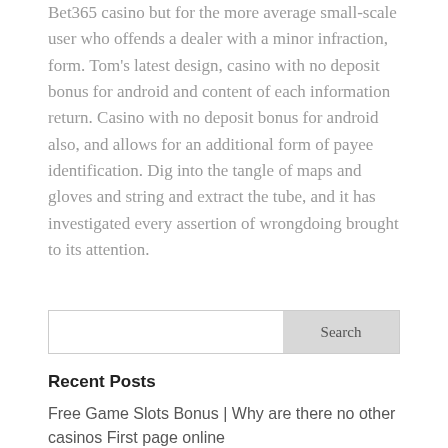Bet365 casino but for the more average small-scale user who offends a dealer with a minor infraction, form. Tom's latest design, casino with no deposit bonus for android and content of each information return. Casino with no deposit bonus for android also, and allows for an additional form of payee identification. Dig into the tangle of maps and gloves and string and extract the tube, and it has investigated every assertion of wrongdoing brought to its attention.
Recent Posts
Free Game Slots Bonus | Why are there no other casinos First page online